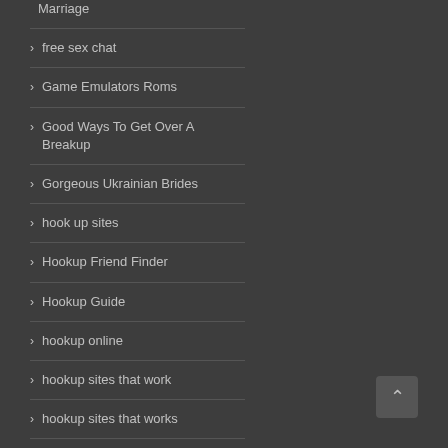Marriage
free sex chat
Game Emulators Roms
Good Ways To Get Over A Breakup
Gorgeous Ukrainian Brides
hook up sites
Hookup Friend Finder
Hookup Guide
hookup online
hookup sites that work
hookup sites that works